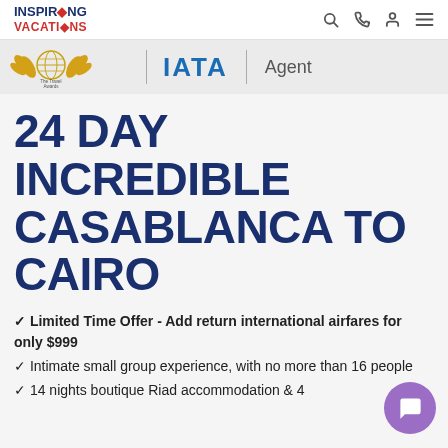INSPIRING VACATIONS
[Figure (logo): Award badge with laurel wreaths and globe icon labeled 'The Travel Awards', alongside IATA Agent logo]
24 DAY INCREDIBLE CASABLANCA TO CAIRO
Limited Time Offer - Add return international airfares for only $999
Intimate small group experience, with no more than 16 people
14 nights boutique Riad accommodation & 4